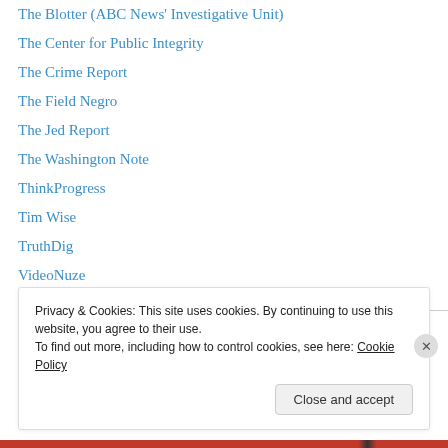The Blotter (ABC News' Investigative Unit)
The Center for Public Integrity
The Crime Report
The Field Negro
The Jed Report
The Washington Note
ThinkProgress
Tim Wise
TruthDig
VideoNuze
WordPress.com
Privacy & Cookies: This site uses cookies. By continuing to use this website, you agree to their use.
To find out more, including how to control cookies, see here: Cookie Policy